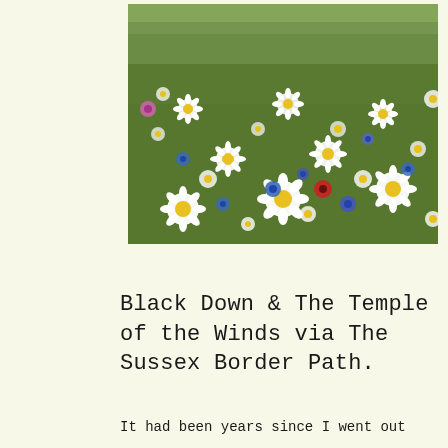[Figure (photo): A field of wildflowers including white daisies with yellow centres, blue cornflowers, and a red poppy, with green grass and trees visible in the background.]
Black Down & The Temple of the Winds via The Sussex Border Path.
It had been years since I went out